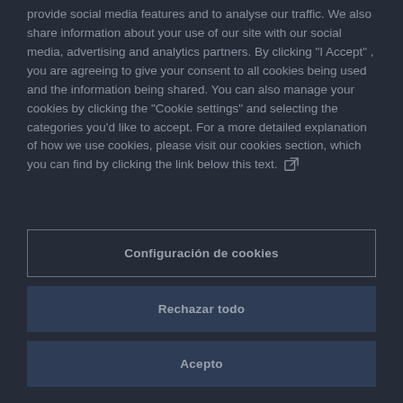provide social media features and to analyse our traffic. We also share information about your use of our site with our social media, advertising and analytics partners. By clicking "I Accept", you are agreeing to give your consent to all cookies being used and the information being shared. You can also manage your cookies by clicking the "Cookie settings" and selecting the categories you'd like to accept. For a more detailed explanation of how we use cookies, please visit our cookies section, which you can find by clicking the link below this text.
Configuración de cookies
Rechazar todo
Acepto